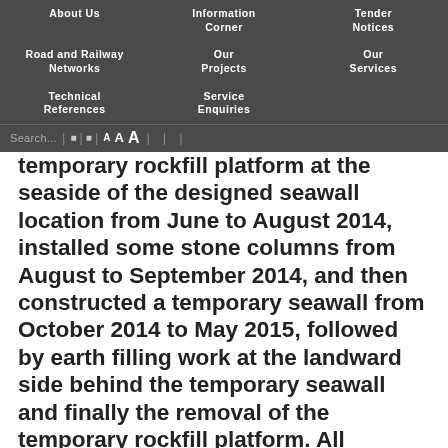About Us | Information Corner | Tender Notices | Road and Railway Networks | Our Projects | Our Services | Technical References | Service Enquiries
temporary rockfill platform at the seaside of the designed seawall location from June to August 2014, installed some stone columns from August to September 2014, and then constructed a temporary seawall from October 2014 to May 2015, followed by earth filling work at the landward side behind the temporary seawall and finally the removal of the temporary rockfill platform. All relevant works are the normal process of the reclamation works, including the construction and subsequent removal of the temporary rockfill platform.